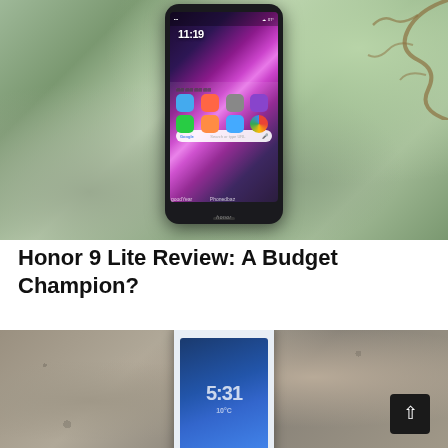[Figure (photo): Photo of a Honor 9 Lite smartphone held upright outdoors against a natural background of stone and leaves. The phone has a tall 18:9 display showing the Android home screen with the time 11:19 and colorful wallpaper. The Honor brand logo is visible on the chin of the phone. Watermark text visible at the bottom left and center.]
Honor 9 Lite Review: A Budget Champion?
[Figure (photo): Partial photo of a white/silver Honor 9 Lite smartphone resting on a textured stone surface. The front of the phone is visible showing dual front cameras at the top and a blue-tinted lock screen display. A dark scroll-to-top button with an upward arrow is visible in the lower right corner.]